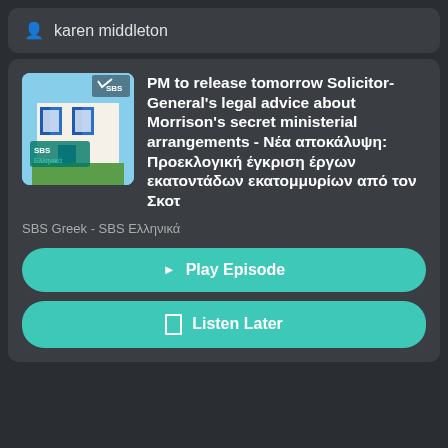karen middleton
PM to release tomorrow Solicitor-General's legal advice about Morrison's secret ministerial arrangements - Νέα αποκάλυψη: Προεκλογική έγκριση έργων εκατοντάδων εκατομμυρίων από τον Σκοτ
SBS Greek - SBS Ελληνικά
Play Episode
Listen Later